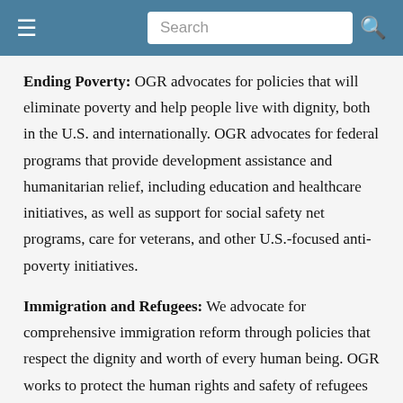Navigation bar with hamburger menu, search box, and search icon
Ending Poverty: OGR advocates for policies that will eliminate poverty and help people live with dignity, both in the U.S. and internationally. OGR advocates for federal programs that provide development assistance and humanitarian relief, including education and healthcare initiatives, as well as support for social safety net programs, care for veterans, and other U.S.-focused anti-poverty initiatives.
Immigration and Refugees: We advocate for comprehensive immigration reform through policies that respect the dignity and worth of every human being. OGR works to protect the human rights and safety of refugees by supporting the refugee resettlement work of Episcopal Migration Ministries and advocating for robust refugee